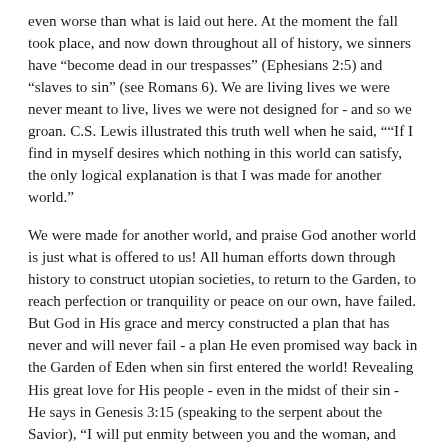even worse than what is laid out here. At the moment the fall took place, and now down throughout all of history, we sinners have “become dead in our trespasses” (Ephesians 2:5) and “slaves to sin” (see Romans 6). We are living lives we were never meant to live, lives we were not designed for - and so we groan. C.S. Lewis illustrated this truth well when he said, ““If I find in myself desires which nothing in this world can satisfy, the only logical explanation is that I was made for another world.”
We were made for another world, and praise God another world is just what is offered to us! All human efforts down through history to construct utopian societies, to return to the Garden, to reach perfection or tranquility or peace on our own, have failed. But God in His grace and mercy constructed a plan that has never and will never fail - a plan He even promised way back in the Garden of Eden when sin first entered the world! Revealing His great love for His people - even in the midst of their sin - He says in Genesis 3:15 (speaking to the serpent about the Savior), “I will put enmity between you and the woman, and between your offspring and her offspring; he shall bruise your head, and you shall bruise his heel.”
The entire rest of the Bible is the unfolding of this grand plan of God to restore the world to what God originally intended, an obliteration of sin and a restoration to righteousness in Christ, a destruction of heartache and pain and a return to peace in the